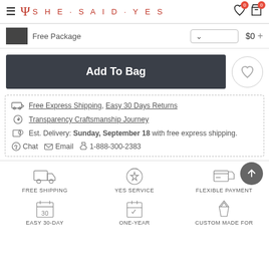SHE·SAID·YES
Free Package  $0 +
Add To Bag
Free Express Shipping, Easy 30 Days Returns
Transparency Craftsmanship Journey
Est. Delivery: Sunday, September 18 with free express shipping.
Chat  Email  1-888-300-2383
FREE SHIPPING
YES SERVICE
FLEXIBLE PAYMENT
EASY 30-DAY
ONE-YEAR
CUSTOM MADE FOR